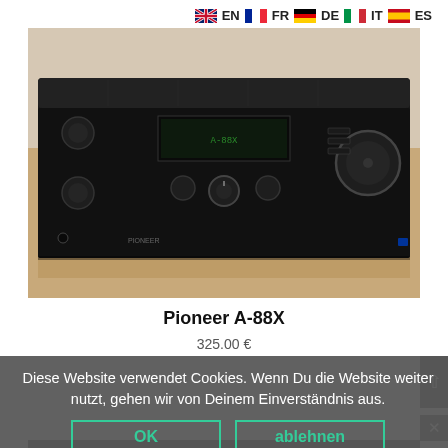[Figure (other): Language selector bar with flags: EN (UK), FR (France), DE (Germany), IT (Italy), ES (Spain)]
[Figure (photo): Photo of Pioneer A-88X stereo integrated amplifier, black, on a wooden surface. Front panel shows various knobs, buttons, and a display.]
Pioneer A-88X
325.00 €
Diese Website verwendet Cookies. Wenn Du die Website weiter nutzt, gehen wir von Deinem Einverständnis aus.
OK
ablehnen
Datenschutzerklärung